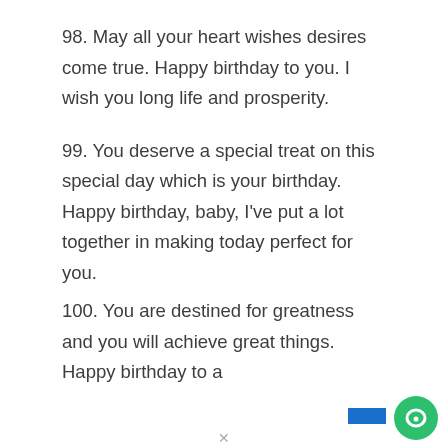98. May all your heart wishes desires come true. Happy birthday to you. I wish you long life and prosperity.
99. You deserve a special treat on this special day which is your birthday. Happy birthday, baby, I’ve put a lot together in making today perfect for you.
100. You are destined for greatness and you will achieve great things. Happy birthday to a